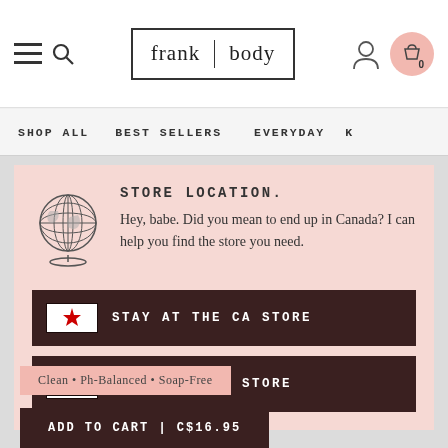frank | body — navigation header with hamburger, search, logo, account, cart (0)
SHOP ALL   BEST SELLERS   EVERYDAY   K
STORE LOCATION.
Hey, babe. Did you mean to end up in Canada? I can help you find the store you need.
STAY AT THE CA STORE
GO TO THE US STORE
Clean • Ph-Balanced • Soap-Free
ADD TO CART | C$16.95